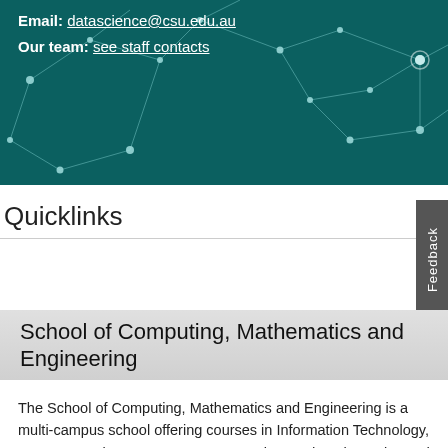[Figure (illustration): Dark teal hero banner with a network/node graph visualization overlay. White lines connect circular nodes across the background image.]
Email: datascience@csu.edu.au
Our team: see staff contacts
Quicklinks
Feedback
School of Computing, Mathematics and Engineering
The School of Computing, Mathematics and Engineering is a multi-campus school offering courses in Information Technology, Computer Science, Games Programming, and Mathematics and Statistics, in both on campus and